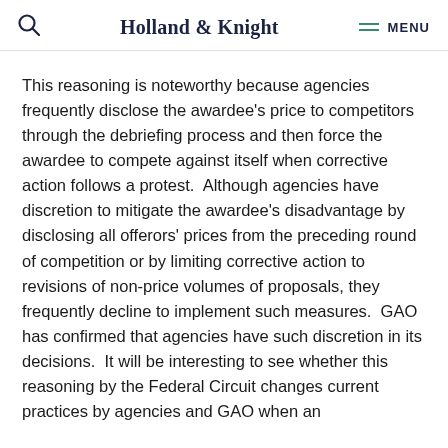Holland & Knight  MENU
This reasoning is noteworthy because agencies frequently disclose the awardee's price to competitors through the debriefing process and then force the awardee to compete against itself when corrective action follows a protest.  Although agencies have discretion to mitigate the awardee's disadvantage by disclosing all offerors' prices from the preceding round of competition or by limiting corrective action to revisions of non-price volumes of proposals, they frequently decline to implement such measures.  GAO has confirmed that agencies have such discretion in its decisions.  It will be interesting to see whether this reasoning by the Federal Circuit changes current practices by agencies and GAO when an